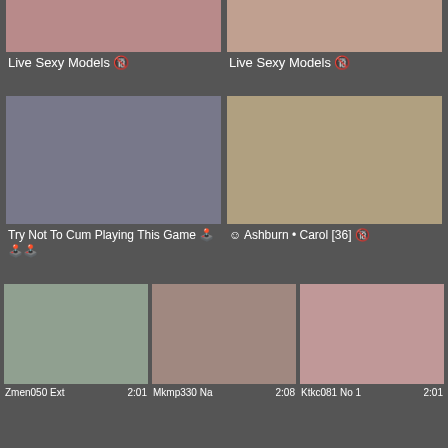[Figure (photo): Thumbnail image - Live Sexy Models left]
Live Sexy Models 🔞
[Figure (photo): Thumbnail image - Live Sexy Models right]
Live Sexy Models 🔞
[Figure (photo): 3D animation thumbnail - Try Not To Cum Playing This Game]
Try Not To Cum Playing This Game 🕹️🕹️🕹️
[Figure (photo): Photo thumbnail - Ashburn Carol [36]]
☺ Ashburn • Carol [36] 🔞
[Figure (photo): Video thumbnail Zmen050 Ext]
Zmen050 Ext
2:01
[Figure (photo): Video thumbnail Mkmp330 Na]
Mkmp330 Na
2:08
[Figure (photo): Video thumbnail Ktkc081 No 1]
Ktkc081 No 1
2:01